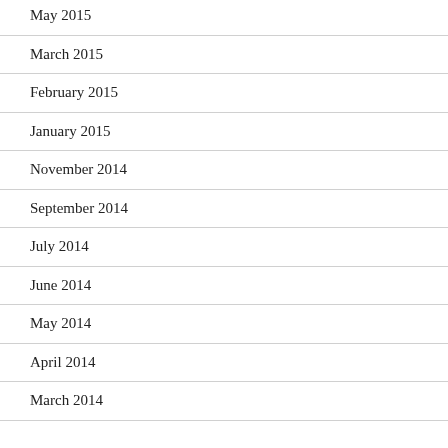May 2015
March 2015
February 2015
January 2015
November 2014
September 2014
July 2014
June 2014
May 2014
April 2014
March 2014